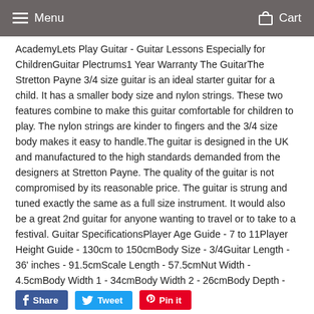Menu  Cart
AcademyLets Play Guitar - Guitar Lessons Especially for ChildrenGuitar Plectrums1 Year Warranty The GuitarThe Stretton Payne 3/4 size guitar is an ideal starter guitar for a child. It has a smaller body size and nylon strings. These two features combine to make this guitar comfortable for children to play. The nylon strings are kinder to fingers and the 3/4 size body makes it easy to handle.The guitar is designed in the UK and manufactured to the high standards demanded from the designers at Stretton Payne. The quality of the guitar is not compromised by its reasonable price. The guitar is strung and tuned exactly the same as a full size instrument. It would also be a great 2nd guitar for anyone wanting to travel or to take to a festival. Guitar SpecificationsPlayer Age Guide - 7 to 11Player Height Guide - 130cm to 150cmBody Size - 3/4Guitar Length - 36' inches - 91.5cmScale Length - 57.5cmNut Width - 4.5cmBody Width 1 - 34cmBody Width 2 - 26cmBody Depth - 8cm
Share  Tweet  Pin it